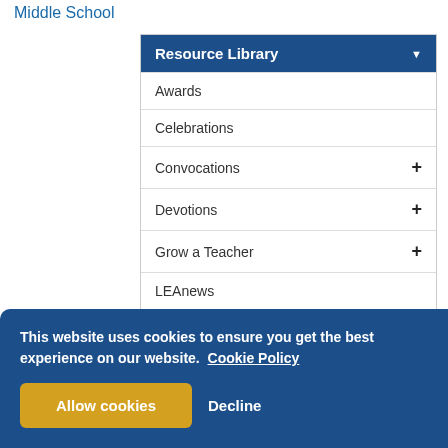Middle School
Resource Library
Awards
Celebrations
Convocations +
Devotions +
Grow a Teacher +
LEAnews
Lutheran Junior Honor Association +
Monographs
Networks +
Partner Organizations +
Shaping the Future +
Shaping the Future 2022 Fall
This website uses cookies to ensure you get the best experience on our website. Cookie Policy
Allow cookies
Decline